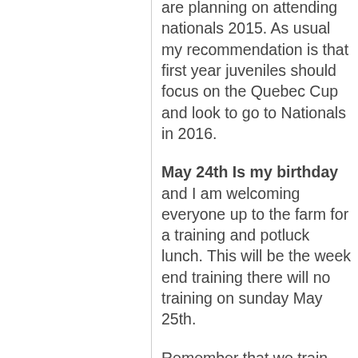are planning on attending nationals 2015. As usual my recommendation is that first year juveniles should focus on the Quebec Cup and look to go to Nationals in 2016.
May 24th Is my birthday and I am welcoming everyone up to the farm for a training and potluck lunch. This will be the week end training there will no training on sunday May 25th.
Remember that we train rain